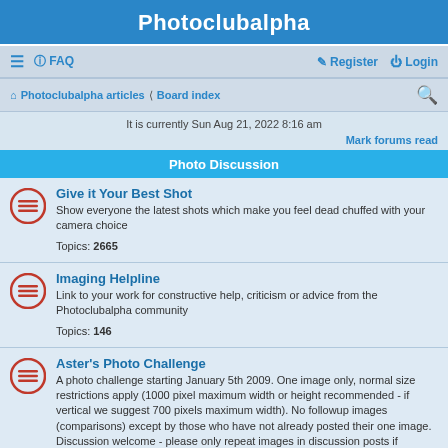Photoclubalpha
≡  FAQ    Register  Login
Photoclubalpha articles › Board index
It is currently Sun Aug 21, 2022 8:16 am
Mark forums read
Photo Discussion
Give it Your Best Shot
Show everyone the latest shots which make you feel dead chuffed with your camera choice
Topics: 2665
Imaging Helpline
Link to your work for constructive help, criticism or advice from the Photoclubalpha community
Topics: 146
Aster's Photo Challenge
A photo challenge starting January 5th 2009. One image only, normal size restrictions apply (1000 pixel maximum width or height recommended - if vertical we suggest 700 pixels maximum width). No followup images (comparisons) except by those who have not already posted their one image. Discussion welcome - please only repeat images in discussion posts if absolutely essential. Aster has been appointed moderator of this forum in recognition of her commitment to making it great fun. This does not prevent others from setting challenges!
Moderator: aster
Topics: 147